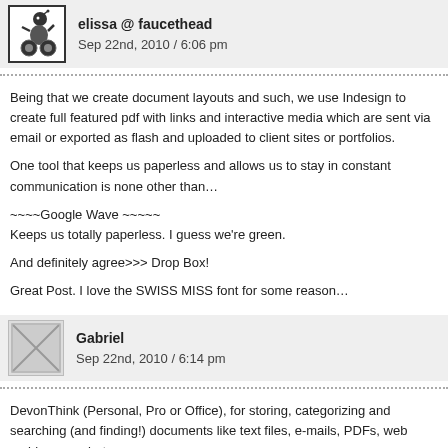elissa @ faucethead
Sep 22nd, 2010 / 6:06 pm
Being that we create document layouts and such, we use Indesign to create full featured pdf with links and interactive media which are sent via email or exported as flash and uploaded to client sites or portfolios.
One tool that keeps us paperless and allows us to stay in constant communication is none other than…
~~~~Google Wave ~~~~~
Keeps us totally paperless. I guess we're green.
And definitely agree>>> Drop Box!
Great Post. I love the SWISS MISS font for some reason…
Gabriel
Sep 22nd, 2010 / 6:14 pm
DevonThink (Personal, Pro or Office), for storing, categorizing and searching (and finding!) documents like text files, e-mails, PDFs, web archives … whatever comes your way.